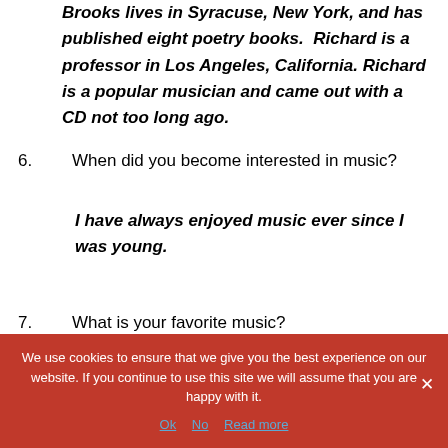Brooks lives in Syracuse, New York, and has published eight poetry books.  Richard is a professor in Los Angeles, California. Richard is a popular musician and came out with a CD not too long ago.
6.  When did you become interested in music?
I have always enjoyed music ever since I was young.
7.  What is your favorite music?
We use cookies to ensure that we give you the best experience on our website. If you continue to use this site we will assume that you are happy with it.